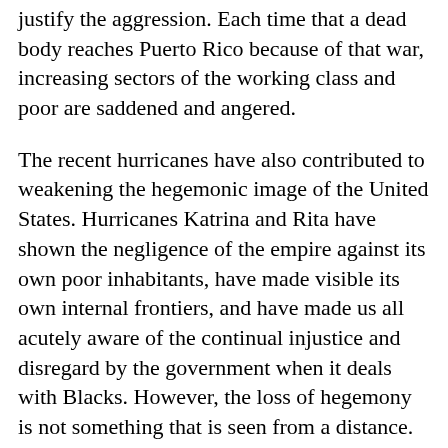justify the aggression. Each time that a dead body reaches Puerto Rico because of that war, increasing sectors of the working class and poor are saddened and angered.
The recent hurricanes have also contributed to weakening the hegemonic image of the United States. Hurricanes Katrina and Rita have shown the negligence of the empire against its own poor inhabitants, have made visible its own internal frontiers, and have made us all acutely aware of the continual injustice and disregard by the government when it deals with Blacks. However, the loss of hegemony is not something that is seen from a distance. It is felt every day as it hits the pockets of the working class of Puerto Rico, manifesting itself in the current fiscal crisis of the colony.
The Free Associated State [or “Commonwealth,” as Puerto Rico is officially known in English]